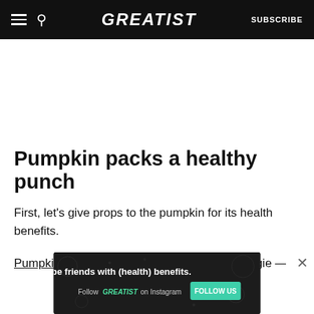GREATIST | SUBSCRIBE
Pumpkin packs a healthy punch
First, let's give props to the pumpkin for its health benefits.
Pumpkin — a fruit that masquerades as a veggie —
[Figure (screenshot): Dark advertisement banner: 'Let's be friends with (health) benefits. Follow GREATIST on Instagram' with a green FOLLOW US button]